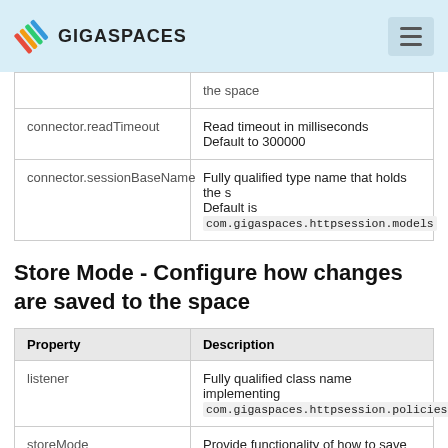GIGASPACES
| Property | Description |
| --- | --- |
|  | the space |
| connector.readTimeout | Read timeout in milliseconds
Default to 300000 |
| connector.sessionBaseName | Fully qualified type name that holds the s...
Default is
com.gigaspaces.httpsession.models |
Store Mode - Configure how changes are saved to the space
| Property | Description |
| --- | --- |
| listener | Fully qualified class name implementing
com.gigaspaces.httpsession.policies.Giga... |
| storeMode | Provide functionality of how to save changes to t...
sessions store mode full and delta. |